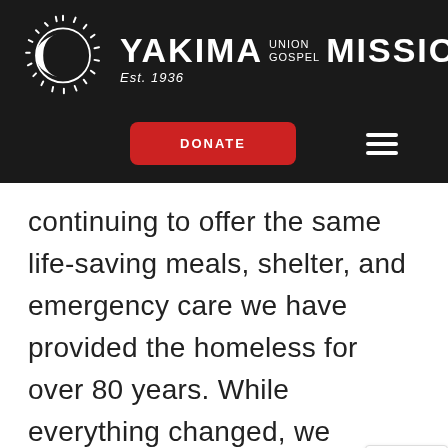[Figure (logo): Yakima Union Gospel Mission logo with sun/moon icon and organization name, Est. 1936]
[Figure (screenshot): Navigation bar with red DONATE button and hamburger menu icon on dark background]
continuing to offer the same life-saving meals, shelter, and emergency care we have provided the homeless for over 80 years. While everything changed, we remain committed to lo...